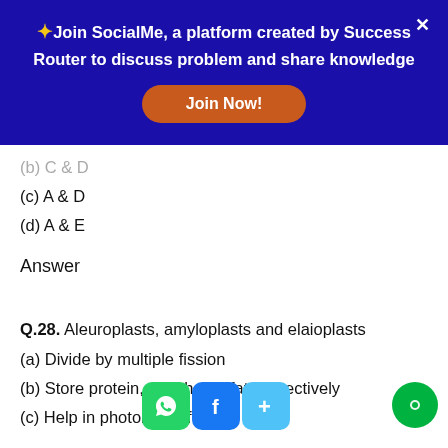[Figure (infographic): Dark blue promotional banner for SocialMe platform with star emoji, bold white text, orange Join Now button, and white X close button]
(b) C & D
(c) A & D
(d) A & E
Answer
Q.28. Aleuroplasts, amyloplasts and elaioplasts
(a) Divide by multiple fission
(b) Store protein, starch and fat respectively
(c) Help in photolysis of water